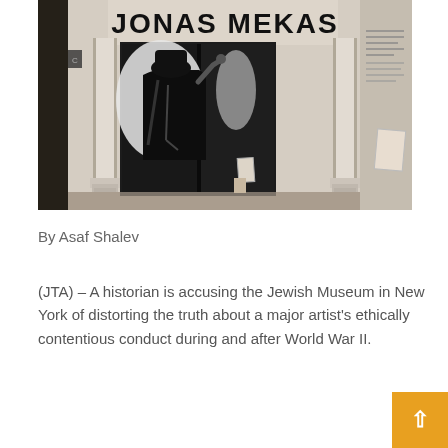[Figure (photo): Museum entrance displaying a large poster of Jonas Mekas (a figure in a black hat and coat viewed from behind) on double black doors, with white architectural columns, decorative wall, and an information panel on the right side]
By Asaf Shalev
(JTA) – A historian is accusing the Jewish Museum in New York of distorting the truth about a major artist's ethically contentious conduct during and after World War II.